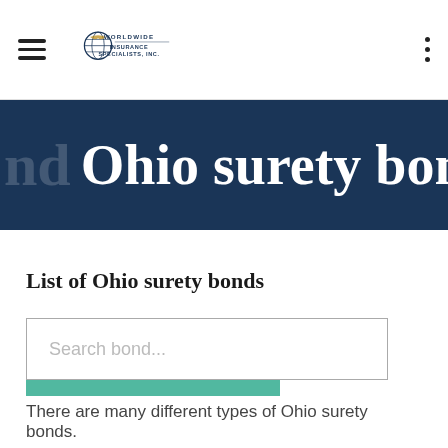Worldwide Insurance Specialists, Inc.
Ohio surety bond
List of Ohio surety bonds
Search bond...
Search  Clear Filter
There are many different types of Ohio surety bonds.